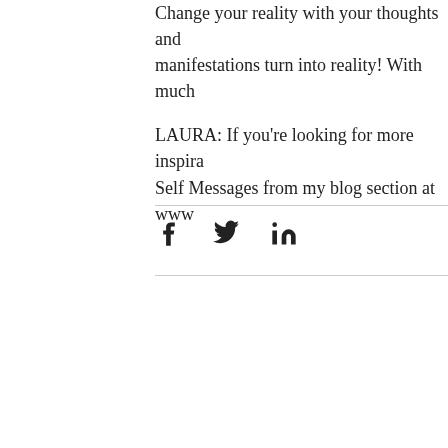Change your reality with your thoughts and manifestations turn into reality! With much
LAURA: If you're looking for more inspira Self Messages from my blog section at www
[Figure (other): Social share icons: Facebook, Twitter, LinkedIn]